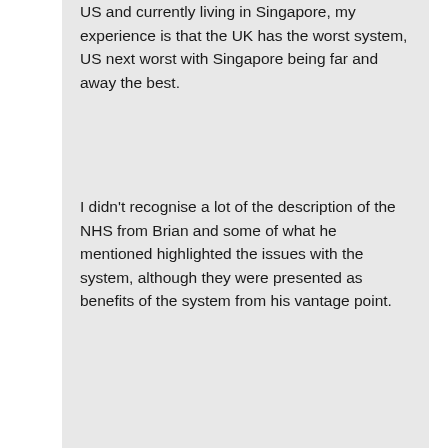US and currently living in Singapore, my experience is that the UK has the worst system, US next worst with Singapore being far and away the best.
I didn't recognise a lot of the description of the NHS from Brian and some of what he mentioned highlighted the issues with the system, although they were presented as benefits of the system from his vantage point.
All in all, another good episode providing an important alternate view for me to listen to.
Reply
patrick says:
June 16, 2017 at 9:57 am